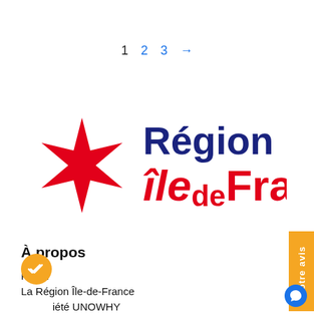1  2  3  →
[Figure (logo): Région Île-de-France logo with red star and text]
À propos
Projet
La Région Île-de-France
La Société UNOWHY
La Poste